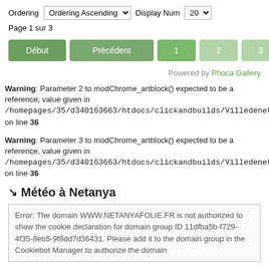Ordering  Ordering Ascending  Display Num  20  Page 1 sur 3
[Figure (screenshot): Pagination buttons: Début, Précédent, 1, 2, 3, Suivant, Fin]
Powered by Phoca Gallery
Warning: Parameter 2 to modChrome_artblock() expected to be a reference, value given in /homepages/35/d340163663/htdocs/clickandbuilds/Villedenetanya/temp on line 36
Warning: Parameter 3 to modChrome_artblock() expected to be a reference, value given in /homepages/35/d340163663/htdocs/clickandbuilds/Villedenetanya/temp on line 36
↘ Météo à Netanya
Error: The domain WWW.NETANYAFOLIE.FR is not authorized to show the cookie declaration for domain group ID 11dfba5b-f729-4f35-8eb5-9f8dd7d36431. Please add it to the domain group in the Cookiebot Manager to authorize the domain